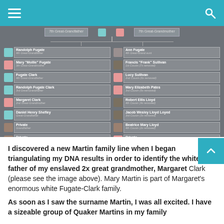Navigation bar with hamburger menu and search icon
[Figure (other): Screenshot of a genealogy/DNA matching family tree showing ancestors and DNA relatives in two columns. Left column includes: Randolph Fugate (4th Great-Grandfather), Mary 'Mollie' Fugate (3th Great-Grandmother), Fugate Clark (4th Great-Grandfather), Randolph Fugate Clark (3rd Great-Grandfather), Margaret Clark (2nd Great-Grandmother), Daniel Henry Shefley (Great-Grandfather), Private (Grandfather), Private (Father), Brian [redacted] Shefley (Self). Right column includes: Ann Fugate (4th Great-Grand aunt), Francis 'Frank' Sullivan (1st Cousin 7x removed), Lucy Sullivan (2nd Cousin 6x removed), Mary Elizabeth Pates (3rd Cousin 5x removed), Robert Ellis Lloyd (4th Cousin 4x removed), Jacob Wesley Lloyd Loyed (3rd Cousin 3x removed), Beatrice Mary Lloyd (4th Cousin 2x removed), Private (7th Cousin 1x removed), betty [redacted] (4th Cousin).]
I discovered a new Martin family line when I began triangulating my DNA results in order to identify the white father of my enslaved 2x great grandmother, Margaret Clark (please see the image above). Mary Martin is part of Margaret's enormous white Fugate-Clark family.
As soon as I saw the surname Martin, I was all excited. I have a sizeable group of Quaker Martins in my family